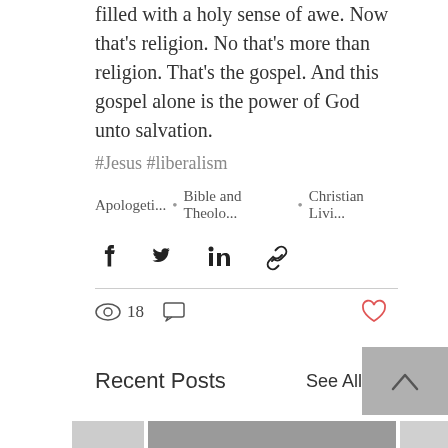filled with a holy sense of awe. Now that's religion. No that's more than religion. That's the gospel. And this gospel alone is the power of God unto salvation.
#Jesus #liberalism
Apologeti... • Bible and Theolo... • Christian Livi...
[Figure (infographic): Social share icons: Facebook, Twitter, LinkedIn, Link]
18 views, comment icon, heart/like icon
Recent Posts
See All
[Figure (photo): Partially visible image on the left edge]
[Figure (photo): Photo of a person reading a Bible on a tablet/laptop, hands clasped, sitting at a table]